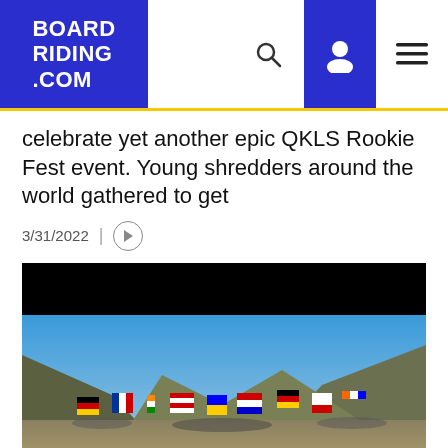BOARD RIDING .COM
celebrate yet another epic QKLS Rookie Fest event. Young shredders around the world gathered to get
3/31/2022
[Figure (photo): Outdoor mountain scene with groups of people holding colorful national flags under a clear blue sky, with mountain ridges in the background. Black bars at top and bottom (video player style).]
WORLD ROOKIE SNOWBOARD FINAL 2022 – DAY 1
The World Rookie Tour are working not only to offer a great comp but also a un…